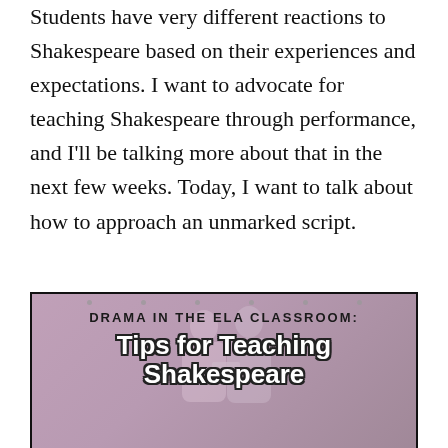Students have very different reactions to Shakespeare based on their experiences and expectations. I want to advocate for teaching Shakespeare through performance, and I'll be talking more about that in the next few weeks. Today, I want to talk about how to approach an unmarked script.
[Figure (photo): A screenshot/thumbnail image with a dark border showing two people (silhouettes) against a pinkish-mauve background, with bold text overlay reading 'DRAMA IN THE ELA CLASSROOM: Tips for Teaching Shakespeare']